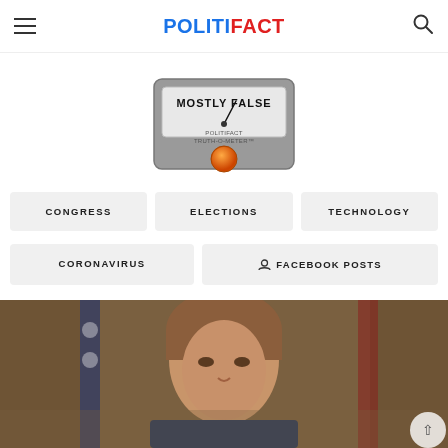POLITIFACT
[Figure (photo): PolitiFact Truth-O-Meter showing 'MOSTLY FALSE' rating with orange indicator button]
CONGRESS
ELECTIONS
TECHNOLOGY
CORONAVIRUS
FACEBOOK POSTS
[Figure (photo): Photo of Nancy Pelosi speaking at a press conference with American flags in the background]